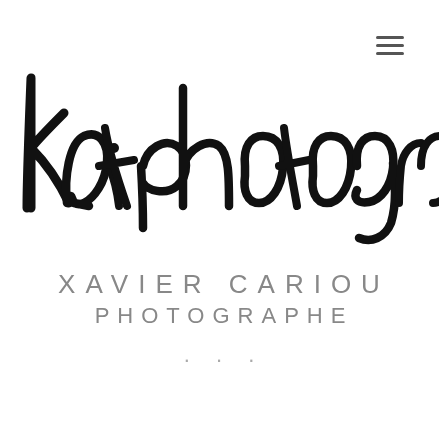[Figure (logo): kait photography handwritten brush script logo in black]
XAVIER CARIOU
PHOTOGRAPHE
...